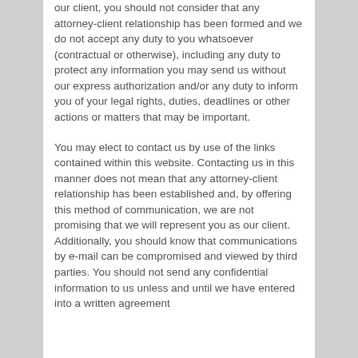our client, you should not consider that any attorney-client relationship has been formed and we do not accept any duty to you whatsoever (contractual or otherwise), including any duty to protect any information you may send us without our express authorization and/or any duty to inform you of your legal rights, duties, deadlines or other actions or matters that may be important.
You may elect to contact us by use of the links contained within this website. Contacting us in this manner does not mean that any attorney-client relationship has been established and, by offering this method of communication, we are not promising that we will represent you as our client. Additionally, you should know that communications by e-mail can be compromised and viewed by third parties. You should not send any confidential information to us unless and until we have entered into a written agreement